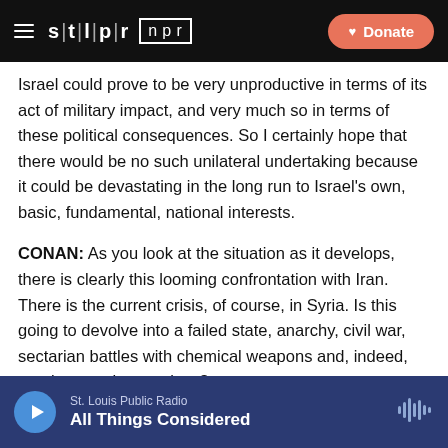STLPR NPR | Donate
Israel could prove to be very unproductive in terms of its act of military impact, and very much so in terms of these political consequences. So I certainly hope that there would be no such unilateral undertaking because it could be devastating in the long run to Israel's own, basic, fundamental, national interests.
CONAN: As you look at the situation as it develops, there is clearly this looming confrontation with Iran. There is the current crisis, of course, in Syria. Is this going to devolve into a failed state, anarchy, civil war, sectarian battles with chemical weapons and, indeed, uranium stocks as prizes?
St. Louis Public Radio | All Things Considered